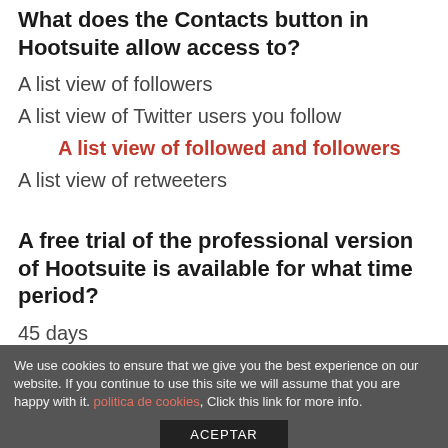What does the Contacts button in Hootsuite allow access to?
A list view of followers
A list view of Twitter users you follow
A list view of followed and followers
A list view of retweeters
A free trial of the professional version of Hootsuite is available for what time period?
45 days
60 days
We use cookies to ensure that we give you the best experience on our website. If you continue to use this site we will assume that you are happy with it. politica de cookies, Click this link for more info.